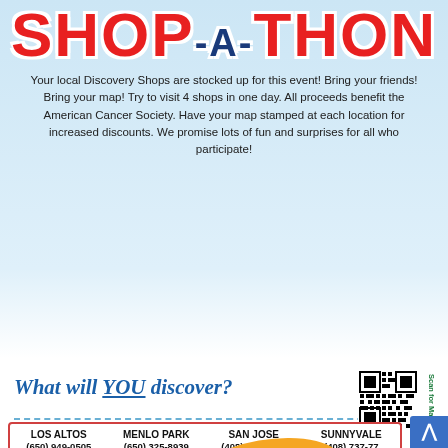SHOP-A-THON
Your local Discovery Shops are stocked up for this event! Bring your friends! Bring your map! Try to visit 4 shops in one day. All proceeds benefit the American Cancer Society. Have your map stamped at each location for increased discounts. We promise lots of fun and surprises for all who participate!
[Figure (illustration): Colorful shopping bags (teal, purple, yellow, red/pink) with handles, and an orange oval badge reading 'One Day Only! August 27th'. Discovery Shop / American Cancer Society logo on the left.]
What will YOU discover?
[Figure (other): QR code for scanning the map, labeled 'Scan for Map']
| LOS ALTOS | MENLO PARK | SAN JOSE | SUNNYVALE |
| --- | --- | --- | --- |
| (650) 949-0505 | (650) 325-8939 | (408) 265-5535 | (408) 737-77... |
| 243 Main Street | 748 Santa Cruz Avenue | 1103 Branham Lane | 1659 Hollenbeck |